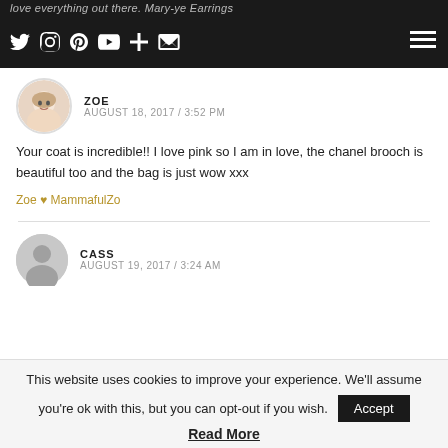love everything out there. Mary-ye Earrings
Social media icons: Twitter, Instagram, Pinterest, YouTube, Plus, Email, Hamburger menu
ZOE
AUGUST 18, 2017 / 3:52 PM
Your coat is incredible!! I love pink so I am in love, the chanel brooch is beautiful too and the bag is just wow xxx
Zoe ♥ MammafulZo
CASS
AUGUST 19, 2017 / 3:24 AM
This website uses cookies to improve your experience. We'll assume you're ok with this, but you can opt-out if you wish.
Read More